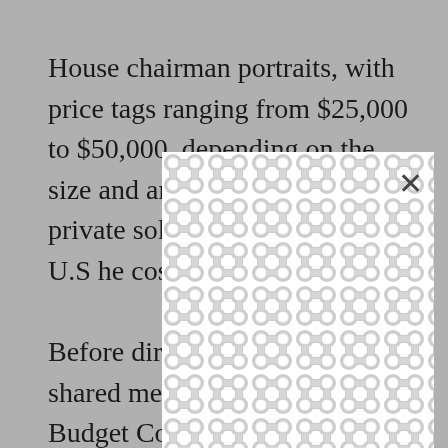House chairman portraits, with price tags ranging from $25,000 to $50,000, depending on the size and ar… llars. Instead… up private… solicit donati… ith the U.S… he costs.

Before… director, Austin Smythe, shared memories from his Budget Committee days, in particular, his boss’s irritation with the rising temperature in the room during hearings when it
[Figure (other): A white overlay/modal box with a decorative repeating rounded-link chain pattern in light gray, partially obscuring the text. An X close button appears in the upper right of the overlay.]